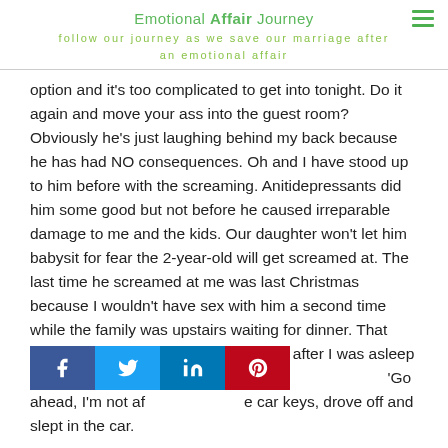Emotional Affair Journey
Follow our journey as we save our marriage after an emotional affair
option and it's too complicated to get into tonight. Do it again and move your ass into the guest room? Obviously he's just laughing behind my back because he has had NO consequences. Oh and I have stood up to him before with the screaming. Anitidepressants did him some good but not before he caused irreparable damage to me and the kids. Our daughter won't let him babysit for fear the 2-year-old will get screamed at. The last time he screamed at me was last Christmas because I wouldn't have sex with him a second time while the family was upstairs waiting for dinner. That night he shined a flashlight in my face after I was asleep and called me mentally ill. I stood [social bar] 'Go ahead, I'm not af[social bar]e car keys, drove off and slept in the car.